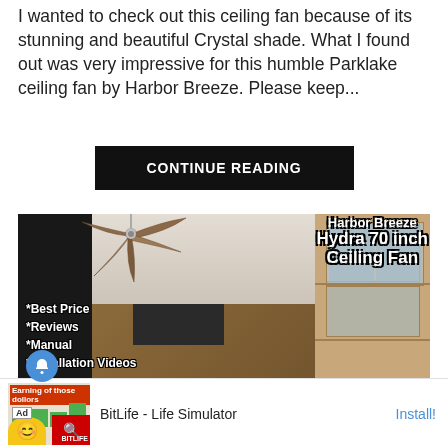I wanted to check out this ceiling fan because of its stunning and beautiful Crystal shade. What I found out was very impressive for this humble Parklake ceiling fan by Harbor Breeze. Please keep...
CONTINUE READING
[Figure (photo): Photo of a modern living room with a large ceiling fan mounted on the ceiling. Overlaid text reads 'Harbor Breeze Hydra 70 inch Ceiling Fan' with bullet points: *Best Price *Reviews *Manual *Installation Videos]
[Figure (screenshot): Ad banner for BitLife - Life Simulator app with an Ad label, app icon, app name, and Install button]